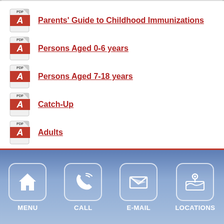Parents' Guide to Childhood Immunizations
Persons Aged 0-6 years
Persons Aged 7-18 years
Catch-Up
Adults
Natural Hormone Replacement
[Figure (infographic): Footer navigation bar with four icon buttons: MENU (house icon), CALL (phone icon), E-MAIL (envelope icon), LOCATIONS (map pin icon) on a blue gradient background with red top border]